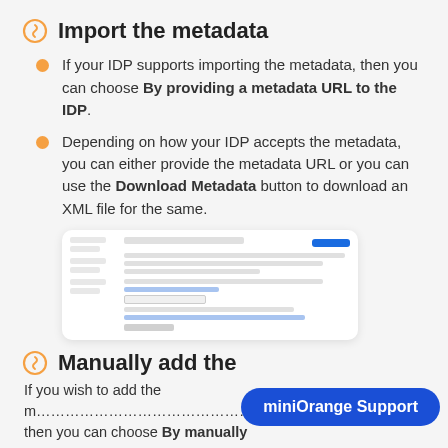Import the metadata
If your IDP supports importing the metadata, then you can choose By providing a metadata URL to the IDP.
Depending on how your IDP accepts the metadata, you can either provide the metadata URL or you can use the Download Metadata button to download an XML file for the same.
[Figure (screenshot): Screenshot of a web interface showing metadata configuration options with a blue button and form fields.]
Manually add the
If you wish to add the m... then you can choose By manually